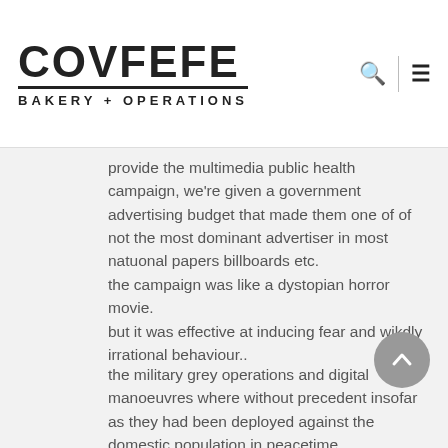COVFEFE BAKERY + OPERATIONS
provide the multimedia public health campaign, we're given a government advertising budget that made them one of of not the most dominant advertiser in most natuonal papers billboards etc.
the campaign was like a dystopian horror movie.
but it was effective at inducing fear and wikdly irrational behaviour..
the military grey operations and digital manoeuvres where without precedent insofar as they had been deployed against the domestic population in peacetime.
The negative sequalue in security and behavioural terms soon became obvious, the